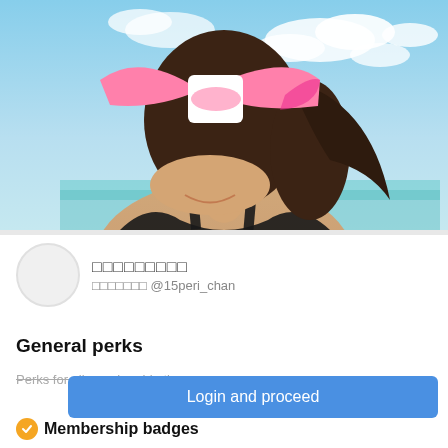[Figure (photo): Banner photo showing a person at a beach with blue sky and clouds, face obscured by a pink bow graphic]
□□□□□□□□□
□□□□□□□ @15peri_chan
General perks
Perks for all membership tiers
Login and proceed
Membership badges